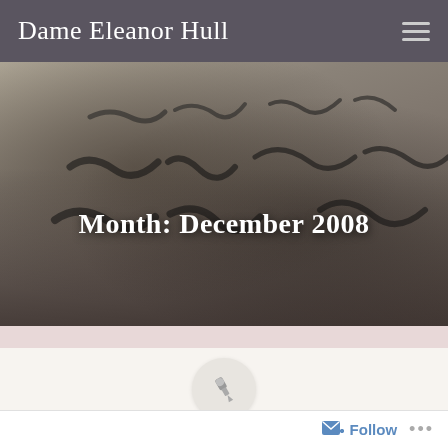Dame Eleanor Hull
[Figure (photo): Blurred close-up of a historical handwritten manuscript in dark ink on aged paper, used as hero banner image]
Month: December 2008
[Figure (infographic): Circular pin/pushpin icon on a light grey circle background]
Posted on 27 December 2008
Follow ...